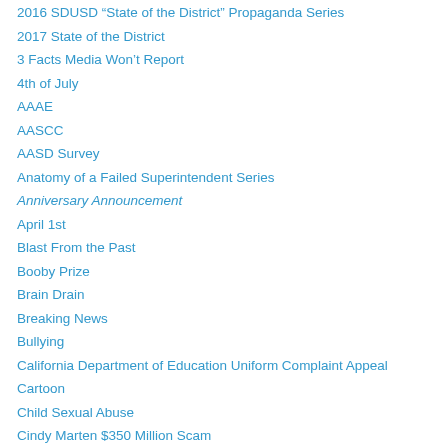2016 SDUSD “State of the District” Propaganda Series
2017 State of the District
3 Facts Media Won’t Report
4th of July
AAAE
AASCC
AASD Survey
Anatomy of a Failed Superintendent Series
Anniversary Announcement
April 1st
Blast From the Past
Booby Prize
Brain Drain
Breaking News
Bullying
California Department of Education Uniform Complaint Appeal
Cartoon
Child Sexual Abuse
Cindy Marten $350 Million Scam
Cindy Marten 2015/2016 Performance Evaluation